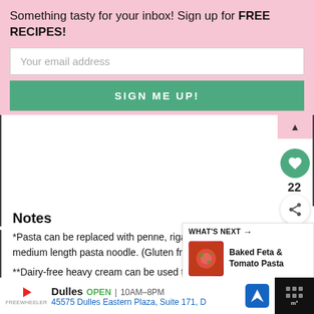Something tasty for your inbox! Sign up for FREE RECIPES!
Your email address
SIGN ME UP!
Notes
*Pasta can be replaced with penne, rigatoni, rotini or your favorite medium length pasta noodle. (Gluten free pasta will
**Dairy-free heavy cream can be used to replace the original heavy cream. (We use one by Silk .)
[Figure (screenshot): What's Next panel showing Baked Feta & Tomato Pasta with a thumbnail image]
Dulles OPEN 10AM-8PM 45575 Dulles Eastern Plaza, Suite 171, D